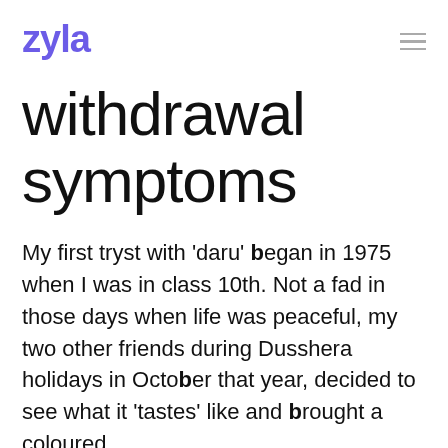zyla
withdrawal symptoms
My first tryst with 'daru' began in 1975 when I was in class 10th. Not a fad in those days when life was peaceful, my two other friends during Dusshera holidays in October that year, decided to see what it 'tastes' like and brought a coloured